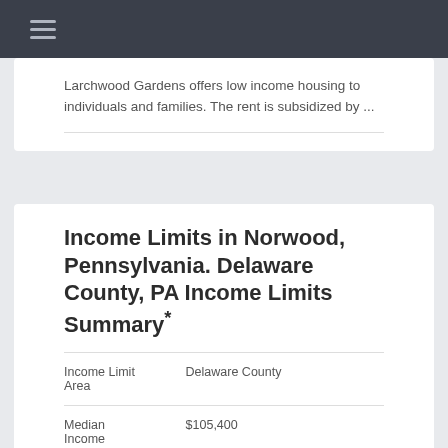≡
Larchwood Gardens offers low income housing to individuals and families. The rent is subsidized by ...
Income Limits in Norwood, Pennsylvania. Delaware County, PA Income Limits Summary*
| Income Limit Area | Delaware County |  |
| --- | --- | --- |
| Income Limit Area | Delaware County |  |
| Median Income | $105,400 |  |
| Income Limit Category | Very Low (50%) Income | Extremely Low Income Limits |